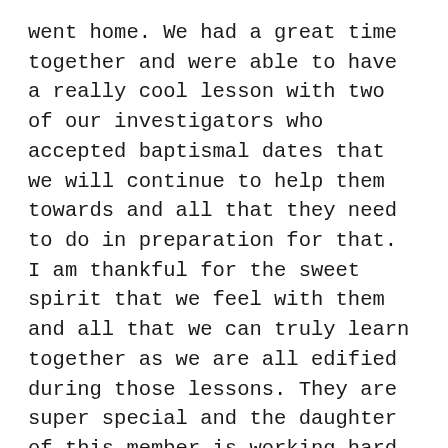went home. We had a great time together and were able to have a really cool lesson with two of our investigators who accepted baptismal dates that we will continue to help them towards and all that they need to do in preparation for that. I am thankful for the sweet spirit that we feel with them and all that we can truly learn together as we are all edified during those lessons. They are super special and the daughter of this member is working hard at reading the Book of Mormon and praying. It is super awesome! We also had a some great less active work done as well.
Transfer day was crazy and started off super well with all the departures and what not! Sorella Closys and Sorella McKenzie were in